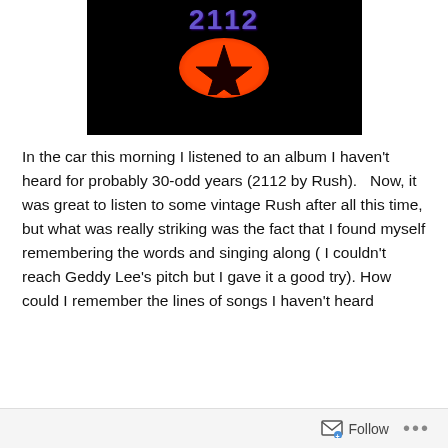[Figure (illustration): Album cover art for Rush '2112' showing the number 2112 in purple stylized font at the top over a black background with a red/orange oval containing a black pentagram star in the center]
In the car this morning I listened to an album I haven't heard for probably 30-odd years (2112 by Rush).   Now, it was great to listen to some vintage Rush after all this time, but what was really striking was the fact that I found myself remembering the words and singing along ( I couldn't reach Geddy Lee's pitch but I gave it a good try). How could I remember the lines of songs I haven't heard
Follow ...